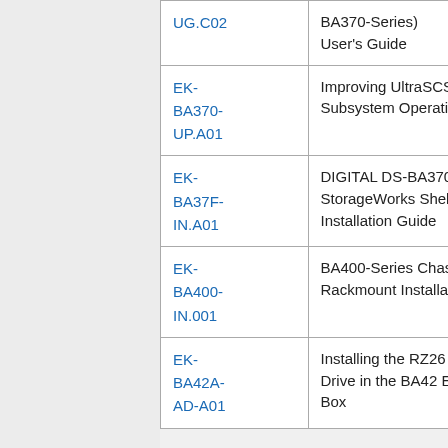| Order Number | Title | Date |
| --- | --- | --- |
| UG.C02 | BA370-Series) User's Guide |  |
| EK-BA370-UP.A01 | Improving UltraSCSI RAID Subsystem Operation | 1997 August |
| EK-BA37F-IN.A01 | DIGITAL DS-BA370-AA RAID StorageWorks Shelf Field Installation Guide | 1998 November |
| EK-BA400-IN.001 | BA400-Series Chassis Rackmount Installation | - |
| EK-BA42A-AD-A01 | Installing the RZ26 Hard Disk Drive in the BA42 Expansion Box |  |